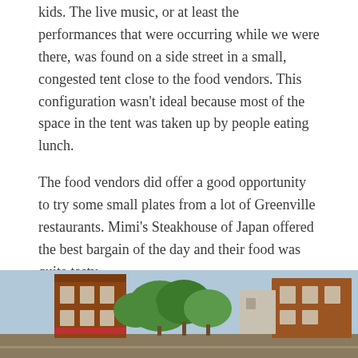kids. The live music, or at least the performances that were occurring while we were there, was found on a side street in a small, congested tent close to the food vendors. This configuration wasn't ideal because most of the space in the tent was taken up by people eating lunch.
The food vendors did offer a good opportunity to try some small plates from a lot of Greenville restaurants. Mimi's Steakhouse of Japan offered the best bargain of the day and their food was quite tasty.
It was a nice (free) event with lots to see. I'm sure we'll be back for next year's event, May 10-12, 2013.
[Figure (photo): Outdoor street scene showing brick buildings, trees, and a town streetscape in Greenville.]